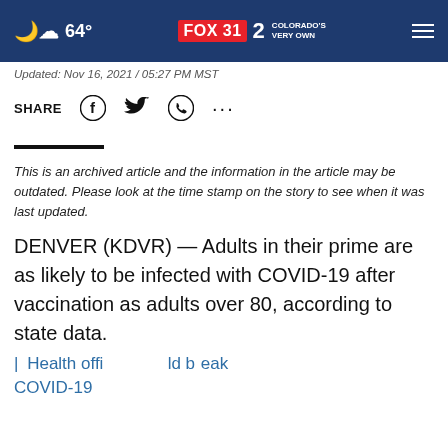64° FOX 31 2 COLORADO'S VERY OWN
Updated: Nov 16, 2021 / 05:27 PM MST
SHARE
This is an archived article and the information in the article may be outdated. Please look at the time stamp on the story to see when it was last updated.
DENVER (KDVR) — Adults in their prime are as likely to be infected with COVID-19 after vaccination as adults over 80, according to state data.
| Health officers ... ld break COVID-19 ...
[Figure (screenshot): CONTINUE READING overlay bar with close button, and Vrbo advertisement banner at the bottom]